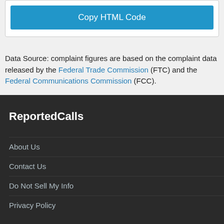[Figure (screenshot): Blue 'Copy HTML Code' button inside a white rounded box]
Data Source: complaint figures are based on the complaint data released by the Federal Trade Commission (FTC) and the Federal Communications Commission (FCC).
ReportedCalls
About Us
Contact Us
Do Not Sell My Info
Privacy Policy